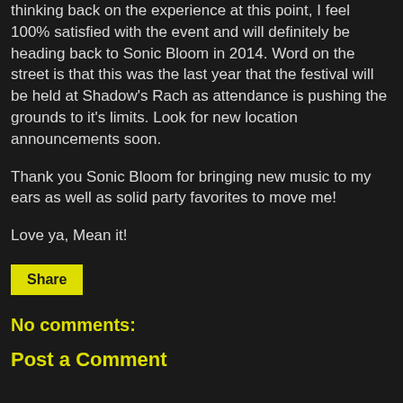thinking back on the experience at this point, I feel 100% satisfied with the event and will definitely be heading back to Sonic Bloom in 2014. Word on the street is that this was the last year that the festival will be held at Shadow's Rach as attendance is pushing the grounds to it's limits. Look for new location announcements soon.
Thank you Sonic Bloom for bringing new music to my ears as well as solid party favorites to move me!
Love ya, Mean it!
Share
No comments:
Post a Comment